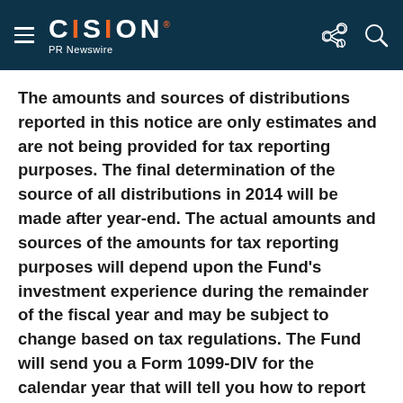CISION PR Newswire
The amounts and sources of distributions reported in this notice are only estimates and are not being provided for tax reporting purposes. The final determination of the source of all distributions in 2014 will be made after year-end. The actual amounts and sources of the amounts for tax reporting purposes will depend upon the Fund's investment experience during the remainder of the fiscal year and may be subject to change based on tax regulations. The Fund will send you a Form 1099-DIV for the calendar year that will tell you how to report these distributions for federal income tax purposes.